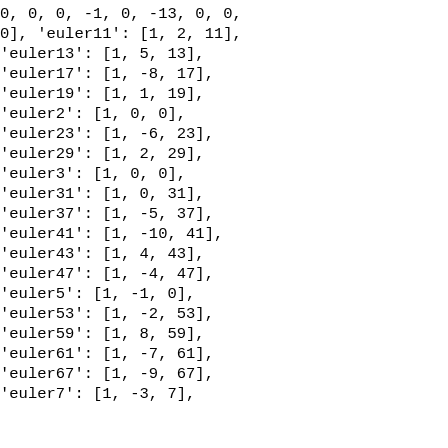0, 0, 0, -1, 0, -13, 0, 0, 0], 'euler11': [1, 2, 11], 'euler13': [1, 5, 13], 'euler17': [1, -8, 17], 'euler19': [1, 1, 19], 'euler2': [1, 0, 0], 'euler23': [1, -6, 23], 'euler29': [1, 2, 29], 'euler3': [1, 0, 0], 'euler31': [1, 0, 31], 'euler37': [1, -5, 37], 'euler41': [1, -10, 41], 'euler43': [1, 4, 43], 'euler47': [1, -4, 47], 'euler5': [1, -1, 0], 'euler53': [1, -2, 53], 'euler59': [1, 8, 59], 'euler61': [1, -7, 61], 'euler67': [1, -9, 67], 'euler7': [1, -3, 7],